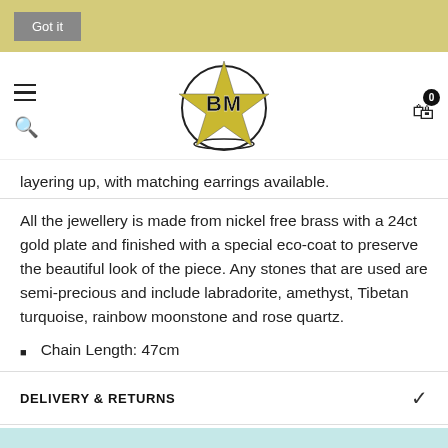Got it
[Figure (logo): BM star logo with gold star and circle, letters BM in center]
layering up, with matching earrings available.
All the jewellery is made from nickel free brass with a 24ct gold plate and finished with a special eco-coat to preserve the beautiful look of the piece. Any stones that are used are semi-precious and include labradorite, amethyst, Tibetan turquoise, rainbow moonstone and rose quartz.
Chain Length: 47cm
DELIVERY & RETURNS